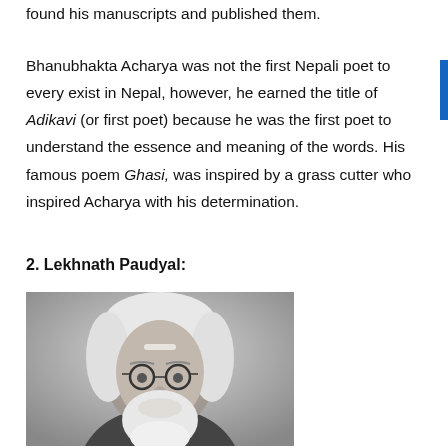found his manuscripts and published them.
Bhanubhakta Acharya was not the first Nepali poet to every exist in Nepal, however, he earned the title of Adikavi (or first poet) because he was the first poet to understand the essence and meaning of the words. His famous poem Ghasi, was inspired by a grass cutter who inspired Acharya with his determination.
2. Lekhnath Paudyal:
[Figure (photo): Black and white portrait photograph of Lekhnath Paudyal, an elderly man with white hair, white beard, and glasses]